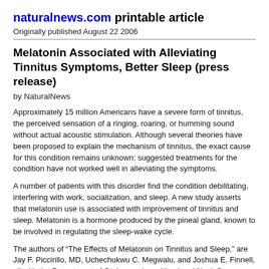naturalnews.com printable article
Originally published August 22 2006
Melatonin Associated with Alleviating Tinnitus Symptoms, Better Sleep (press release)
by NaturalNews
Approximately 15 million Americans have a severe form of tinnitus, the perceived sensation of a ringing, roaring, or humming sound without actual acoustic stimulation. Although several theories have been proposed to explain the mechanism of tinnitus, the exact cause for this condition remains unknown; suggested treatments for the condition have not worked well in alleviating the symptoms.
A number of patients with this disorder find the condition debilitating, interfering with work, socialization, and sleep. A new study asserts that melatonin use is associated with improvement of tinnitus and sleep. Melatonin is a hormone produced by the pineal gland, known to be involved in regulating the sleep-wake cycle.
The authors of “The Effects of Melatonin on Tinnitus and Sleep,” are Jay F. Piccirillo, MD, Uchechukwu C. Megwalu, and Joshua E. Finnell, all with the Department of Otolaryngology–Head and Neck Surgery, Washington University School of Medicine, St. Louis, MO. Their findings appear in the February 2006, edition of Otolaryngology—Head and Neck Surgery, the medical and scientific